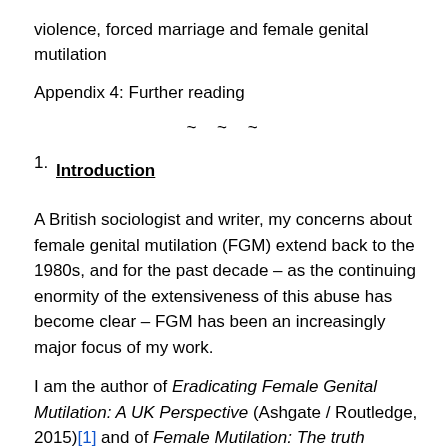violence, forced marriage and female genital mutilation
Appendix 4: Further reading
~ ~ ~
1. Introduction
A British sociologist and writer, my concerns about female genital mutilation (FGM) extend back to the 1980s, and for the past decade – as the continuing enormity of the extensiveness of this abuse has become clear – FGM has been an increasingly major focus of my work.
I am the author of Eradicating Female Genital Mutilation: A UK Perspective (Ashgate / Routledge, 2015)[1] and of Female Mutilation: The truth behind the horrifying global practice of female genital mutilation (New Holland